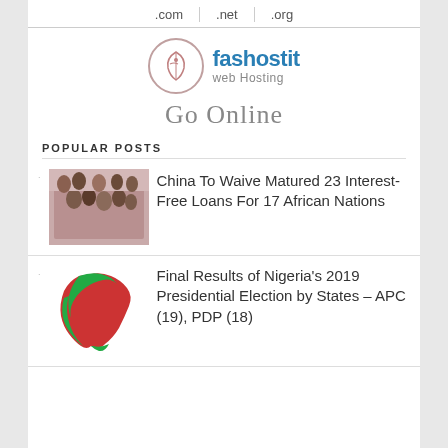.com   .net   .org
[Figure (logo): Fashostit web Hosting logo with circular icon and text]
Go Online
POPULAR POSTS
[Figure (photo): Group photo of African leaders and Chinese officials at a summit]
China To Waive Matured 23 Interest-Free Loans For 17 African Nations
[Figure (map): Map of Nigeria showing 2019 presidential election results by states in red and green]
Final Results of Nigeria's 2019 Presidential Election by States – APC (19), PDP (18)